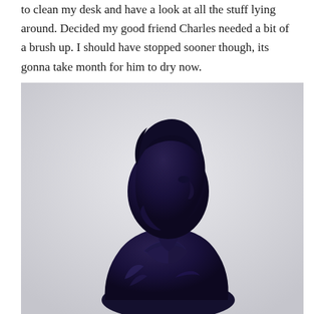to clean my desk and have a look at all the stuff lying around. Decided my good friend Charles needed a bit of a brush up. I should have stopped sooner though, its gonna take month for him to dry now.
[Figure (photo): A dark navy blue painted bust sculpture of a man (likely Charles) shown in profile/three-quarter view against a light grey background. The bust shows a man with styled hair, wearing period clothing with decorative collar details.]